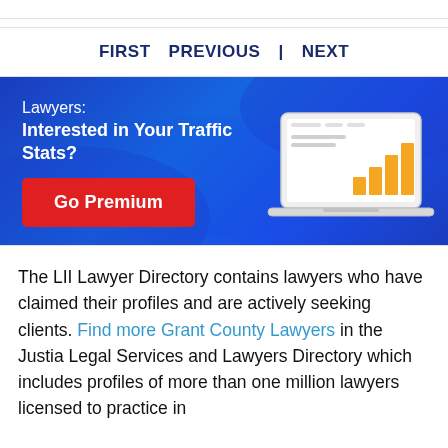FIRST   PREVIOUS   |   NEXT
[Figure (infographic): Blue gradient banner ad for Justia/LII premium service. Text reads 'Lawyers: Interested in Your Traffic Stats?' with a red 'Go Premium' button and a laptop illustration showing a bar chart.]
The LII Lawyer Directory contains lawyers who have claimed their profiles and are actively seeking clients. Find more Grant County Lawyers in the Justia Legal Services and Lawyers Directory which includes profiles of more than one million lawyers licensed to practice in